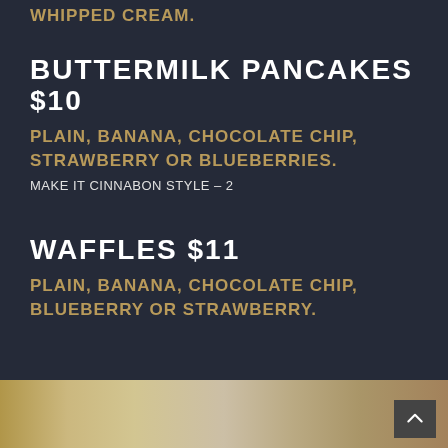whipped cream.
BUTTERMILK PANCAKES $10
Plain, Banana, Chocolate Chip, Strawberry or Blueberries.
Make it Cinnabon Style – 2
WAFFLES $11
Plain, Banana, Chocolate Chip, Blueberry or Strawberry.